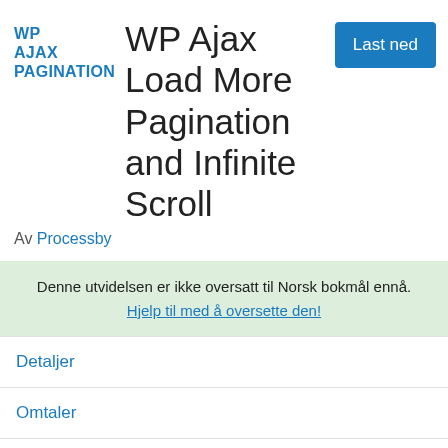[Figure (logo): WP AJAX PAGINATION logo text in blue]
WP Ajax Load More Pagination and Infinite Scroll
Av Processby
Denne utvidelsen er ikke oversatt til Norsk bokmål ennå. Hjelp til med å oversette den!
Detaljer
Omtaler
Installering
Brukerstøtte
Utvikling